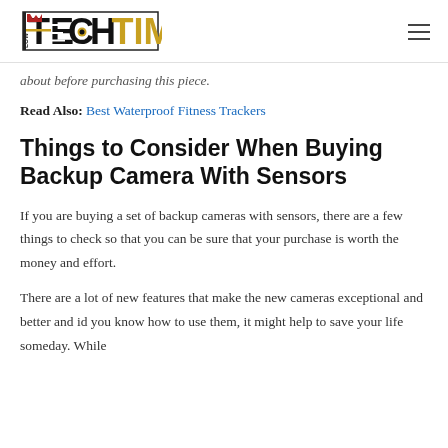Low Tech Times
about before purchasing this piece.
Read Also: Best Waterproof Fitness Trackers
Things to Consider When Buying Backup Camera With Sensors
If you are buying a set of backup cameras with sensors, there are a few things to check so that you can be sure that your purchase is worth the money and effort.
There are a lot of new features that make the new cameras exceptional and better and id you know how to use them, it might help to save your life someday. While